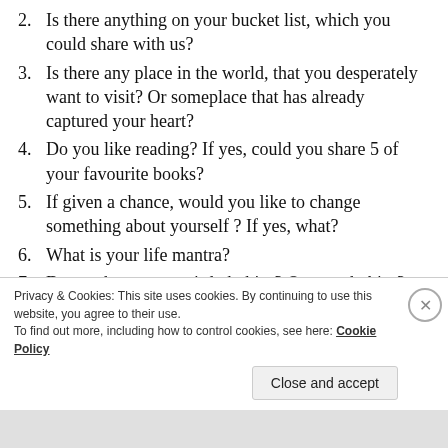2. Is there anything on your bucket list, which you could share with us?
3. Is there any place in the world, that you desperately want to visit? Or someplace that has already captured your heart?
4. Do you like reading? If yes, could you share 5 of your favourite books?
5. If given a chance, would you like to change something about yourself ? If yes, what?
6. What is your life mantra?
7. Do you have any weird phobias? Or any phobias?
Privacy & Cookies: This site uses cookies. By continuing to use this website, you agree to their use.
To find out more, including how to control cookies, see here: Cookie Policy
Close and accept